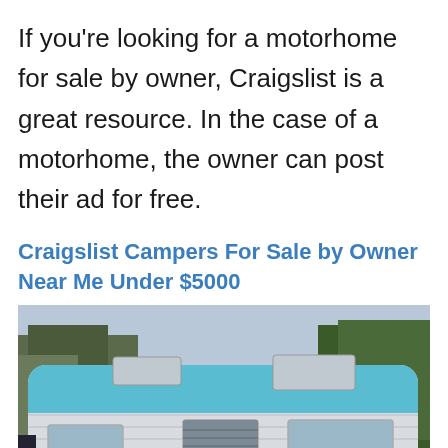If you're looking for a motorhome for sale by owner, Craigslist is a great resource. In the case of a motorhome, the owner can post their ad for free.
Craigslist Campers For Sale by Owner Near Me Under $5000
[Figure (photo): A vintage white and teal/blue camper trailer parked outdoors on a road with bare trees in the background. The camper has multiple windows, vents on the roof, and teal accent trim at the top and bottom.]